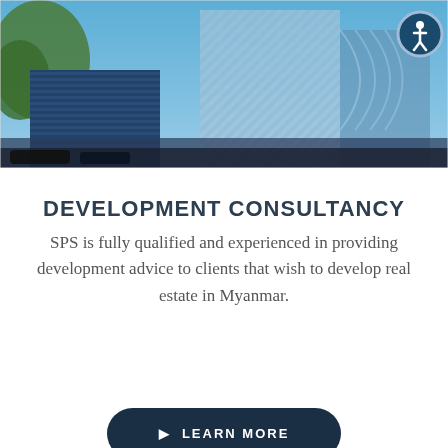[Figure (photo): Exterior photo of modern glass office buildings with blue sky and trees in foreground, presented as a collage-style split image]
DEVELOPMENT CONSULTANCY
SPS is fully qualified and experienced in providing development advice to clients that wish to develop real estate in Myanmar.
LEARN MORE